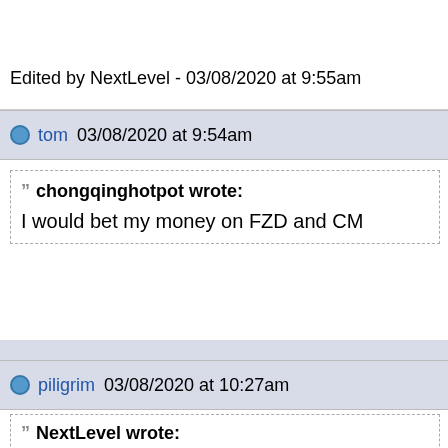Edited by NextLevel - 03/08/2020 at 9:55am
tom 03/08/2020 at 9:54am
chongqinghotpot wrote:
I would bet my money on FZD and CM
you win your bet ( or not yet if you meant the finals
piligrim 03/08/2020 at 10:27am
NextLevel wrote: